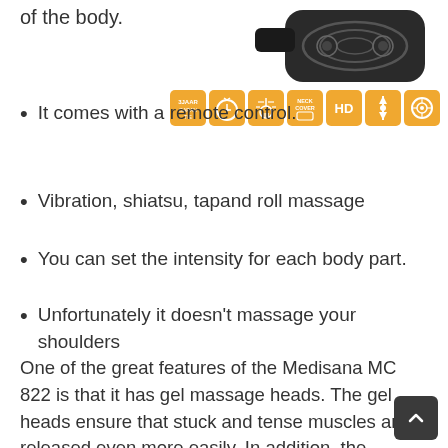of the body.
[Figure (photo): Black massage cushion device with rounded rectangular shape and wave pattern on top surface with a clip/tab]
[Figure (infographic): Row of 7 orange square icons showing product features: 3 jaar garantie, timer, heat, neck cover, HD, intensity adjustment, rotation]
It comes with a remote control.
Vibration, shiatsu, tapand roll massage
You can set the intensity for each body part.
Unfortunately it doesn't massage your shoulders
One of the great features of the Medisana MC 822 is that it has gel massage heads. The gel heads ensure that stuck and tense muscles are released even more easily. In addition, the massage through the gel heads feels a lot more comfortable and natural. In this respect, the Medisana MC 822 clearly distinguishes itself from other models, because mos